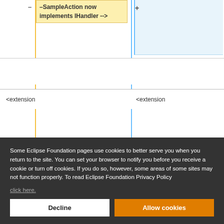[Figure (screenshot): Code diff view showing two columns. Left column contains a yellow highlighted block with text: '–SampleAction now implements IHandler -->' and a row showing '<extension'. Right column shows a '+' sign, a light blue header area, and a row showing '<extension'. Bottom right shows '+' and 'id="sampleMenu"'.]
Some Eclipse Foundation pages use cookies to better serve you when you return to the site. You can set your browser to notify you before you receive a cookie or turn off cookies. If you do so, however, some areas of some sites may not function properly. To read Eclipse Foundation Privacy Policy
click here.
Decline
Allow cookies